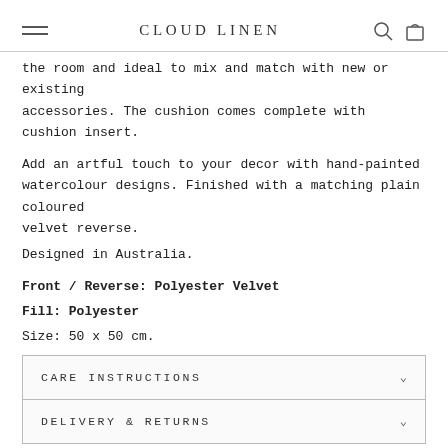CLOUD LINEN
the room and ideal to mix and match with new or existing accessories. The cushion comes complete with cushion insert.
Add an artful touch to your decor with hand-painted watercolour designs. Finished with a matching plain coloured velvet reverse.
Designed in Australia.
Front / Reverse: Polyester Velvet
Fill: Polyester
Size: 50 x 50 cm.
CARE INSTRUCTIONS
DELIVERY & RETURNS